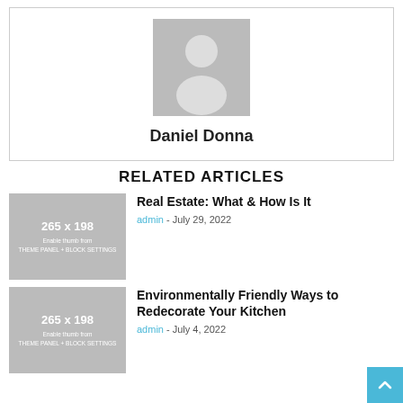[Figure (illustration): Gray placeholder avatar icon showing a silhouette of a person]
Daniel Donna
RELATED ARTICLES
[Figure (photo): Gray placeholder thumbnail 265 x 198, Enable thumb from THEME PANEL + BLOCK SETTINGS]
Real Estate: What & How Is It
admin - July 29, 2022
[Figure (photo): Gray placeholder thumbnail 265 x 198, Enable thumb from THEME PANEL + BLOCK SETTINGS]
Environmentally Friendly Ways to Redecorate Your Kitchen
admin - July 4, 2022